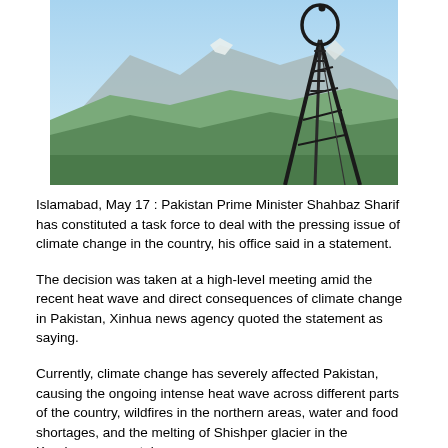[Figure (photo): A mountain landscape with a tall metal survey/communication tripod structure in the foreground. The tripod has a circular ring at the top and is set against a backdrop of mountain peaks with a blue sky. Green hills and valleys are visible below.]
Islamabad, May 17 : Pakistan Prime Minister Shahbaz Sharif has constituted a task force to deal with the pressing issue of climate change in the country, his office said in a statement.
The decision was taken at a high-level meeting amid the recent heat wave and direct consequences of climate change in Pakistan, Xinhua news agency quoted the statement as saying.
Currently, climate change has severely affected Pakistan, causing the ongoing intense heat wave across different parts of the country, wildfires in the northern areas, water and food shortages, and the melting of Shishper glacier in the Karakoram mountain